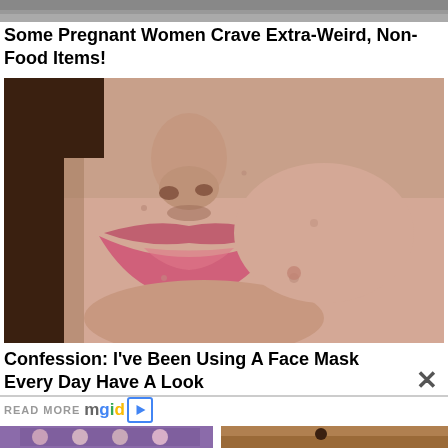[Figure (photo): Top partial image strip, gray tones, appears to be top of a face or object]
Some Pregnant Women Crave Extra-Weird, Non-Food Items!
[Figure (photo): Close-up photo of a woman's lower face showing nose, lips with pink lipstick, and skin with some blemishes]
Confession: I've Been Using A Face Mask Every Day Have A Look
READ MORE mgid
[Figure (photo): Group of Indian women in traditional bridal attire with jewelry]
[Figure (photo): African man in traditional attire standing against a mud wall]